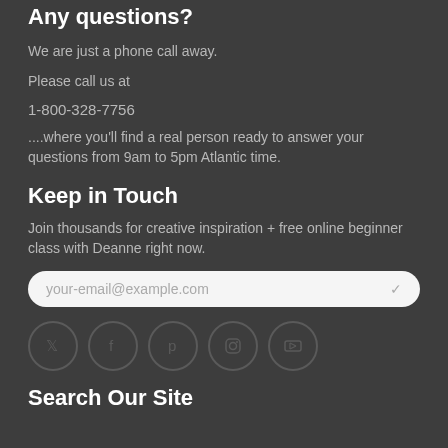Any questions?
We are just a phone call away.
Please call us at
1-800-328-7756
....where you'll find a real person ready to answer your questions from 9am to 5pm Atlantic time.
Keep in Touch
Join thousands for creative inspiration + free online beginner class with Deanne right now.
your-email@example.com
[Figure (infographic): Row of five social media icons in circles: Twitter, Facebook, Pinterest, Instagram, YouTube]
Search Our Site